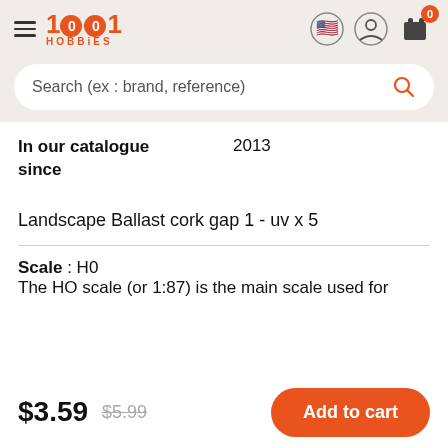1001 HOBBIES
Search (ex : brand, reference)
In our catalogue since  2013
Landscape Ballast cork gap 1 - uv x 5
Scale : H0
The HO scale (or 1:87) is the main scale used for
$3.59  $5.99  Add to cart